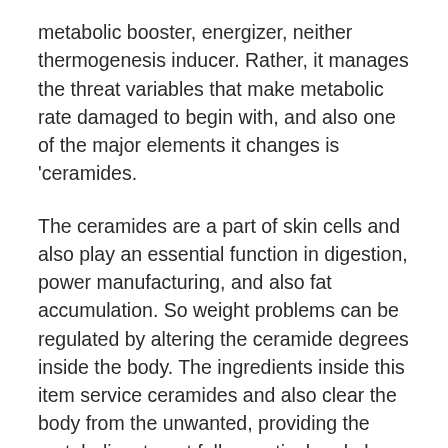metabolic booster, energizer, neither thermogenesis inducer. Rather, it manages the threat variables that make metabolic rate damaged to begin with, and also one of the major elements it changes is 'ceramides.
The ceramides are a part of skin cells and also play an essential function in digestion, power manufacturing, and also fat accumulation. So weight problems can be regulated by altering the ceramide degrees inside the body. The ingredients inside this item service ceramides and also clear the body from the unwanted, providing the metabolism to get fully practical and also melt the fat gotten from the food.